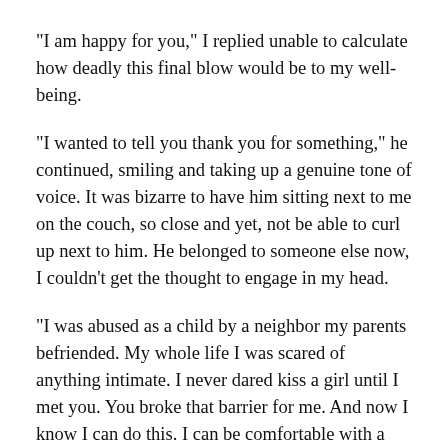"I am happy for you," I replied unable to calculate how deadly this final blow would be to my well-being.
"I wanted to tell you thank you for something," he continued, smiling and taking up a genuine tone of voice. It was bizarre to have him sitting next to me on the couch, so close and yet, not be able to curl up next to him. He belonged to someone else now, I couldn't get the thought to engage in my head.
"I was abused as a child by a neighbor my parents befriended. My whole life I was scared of anything intimate. I never dared kiss a girl until I met you. You broke that barrier for me. And now I know I can do this. I can be comfortable with a girlfriend."
I sat in shock.
"I...